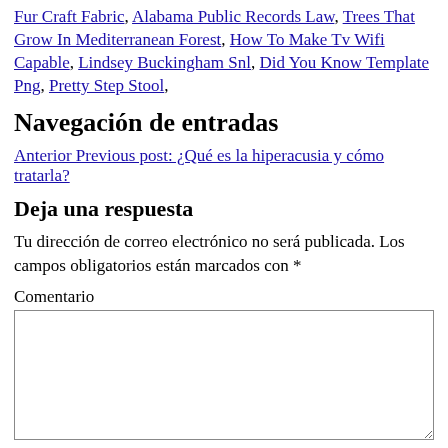Fur Craft Fabric, Alabama Public Records Law, Trees That Grow In Mediterranean Forest, How To Make Tv Wifi Capable, Lindsey Buckingham Snl, Did You Know Template Png, Pretty Step Stool,
Navegación de entradas
Anterior Previous post: ¿Qué es la hiperacusia y cómo tratarla?
Deja una respuesta
Tu dirección de correo electrónico no será publicada. Los campos obligatorios están marcados con *
Comentario
Nombre *